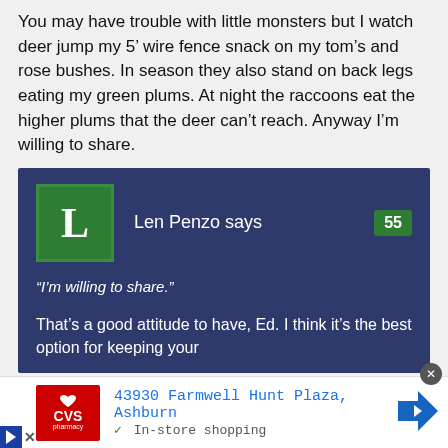You may have trouble with little monsters but I watch deer jump my 5’ wire fence snack on my tom’s and rose bushes. In season they also stand on back legs eating my green plums. At night the raccoons eat the higher plums that the deer can’t reach. Anyway I’m willing to share.
“I’m willing to share.”
That’s a good attitude to have, Ed. I think it’s the best option for keeping your
[Figure (screenshot): Comment block with Len Penzo avatar (green square with white L), author name 'Len Penzo says', comment number 55 in green badge]
43930 Farmwell Hunt Plaza, Ashburn
✓ In-store shopping